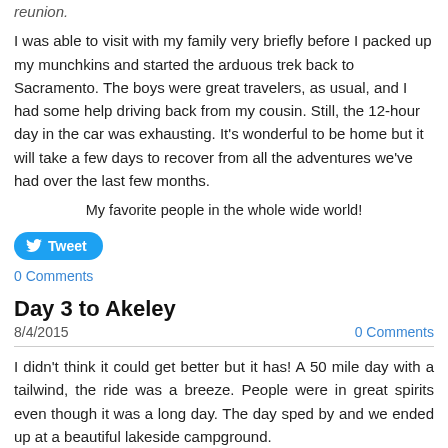reunion.
I was able to visit with my family very briefly before I packed up my munchkins and started the arduous trek back to Sacramento. The boys were great travelers, as usual, and I had some help driving back from my cousin. Still, the 12-hour day in the car was exhausting. It's wonderful to be home but it will take a few days to recover from all the adventures we've had over the last few months.
My favorite people in the whole wide world!
Tweet
0 Comments
Day 3 to Akeley
8/4/2015
0 Comments
I didn't think it could get better but it has! A 50 mile day with a tailwind, the ride was a breeze. People were in great spirits even though it was a long day. The day sped by and we ended up at a beautiful lakeside campground.